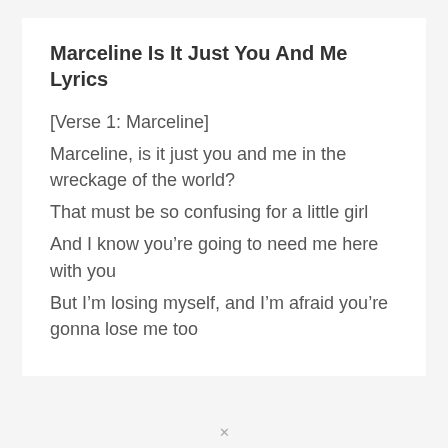Marceline Is It Just You And Me Lyrics
[Verse 1: Marceline]
Marceline, is it just you and me in the wreckage of the world?
That must be so confusing for a little girl
And I know you’re going to need me here with you
But I’m losing myself, and I’m afraid you’re gonna lose me too